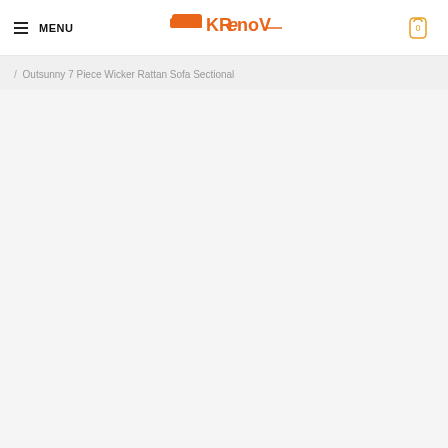MENU | KRenov | 0
/ Outsunny 7 Piece Wicker Rattan Sofa Sectional